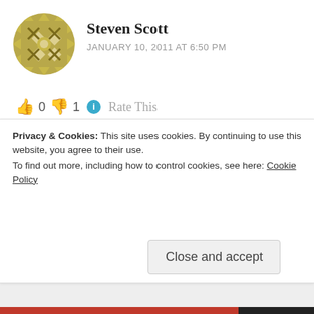[Figure (illustration): Gold/olive colored decorative geometric pattern avatar icon (quilt-like snowflake pattern)]
Steven Scott
JANUARY 10, 2011 AT 6:50 PM
👍 0 👎 1 ℹ Rate This
I use database tables that allow me to have the group similar to the INI file. Then I load these into variables in the code on start up of the application. The variables are then available for Auto-Complete. Of course, some settings still need to be outside of this to connect to the database. A INI is still used with the most
Privacy & Cookies: This site uses cookies. By continuing to use this website, you agree to their use.
To find out more, including how to control cookies, see here: Cookie Policy
Close and accept